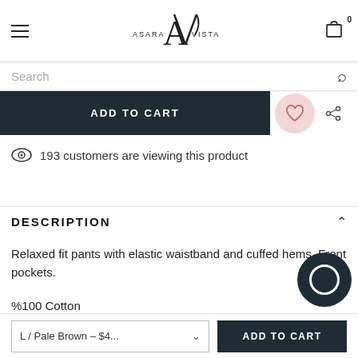Asara Vista — navigation bar with hamburger menu and cart icon showing 0 items
Search
ADD TO CART
193 customers are viewing this product
DESCRIPTION
Relaxed fit pants with elastic waistband and cuffed hems. Front pockets.
%100 Cotton
L / Pale Brown – $4...
ADD TO CART